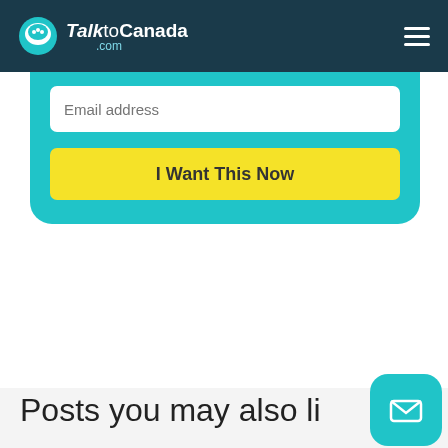TalktoCanada.com
[Figure (screenshot): Email address input field with placeholder text 'Email address' on a teal background card]
I Want This Now
Posts you may also li...